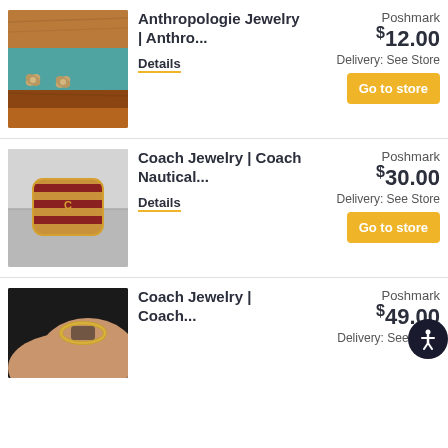[Figure (photo): Photo of Anthropologie bow/ribbon earrings on a teal and brown wooden surface]
Anthropologie Jewelry | Anthro...
Details
Poshmark
$12.00
Delivery: See Store
Go to store
[Figure (photo): Photo of Coach nautical striped bracelet/bangle in red and gold against metallic background]
Coach Jewelry | Coach Nautical...
Details
Poshmark
$30.00
Delivery: See Store
Go to store
[Figure (photo): Photo of Coach jewelry ring worn on a hand, partially visible]
Coach Jewelry | Coach...
Poshmark
$49.00
Delivery: See Sto...